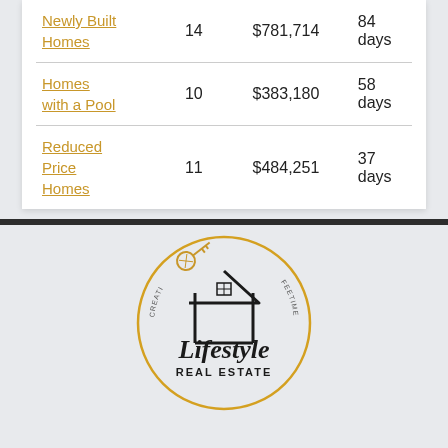| Newly Built Homes | 14 | $781,714 | 84 days |
| Homes with a Pool | 10 | $383,180 | 58 days |
| Reduced Price Homes | 11 | $484,251 | 37 days |
[Figure (logo): Lifestyle Real Estate circular logo with a house outline, gold key, and cursive 'Lifestyle' text with 'REAL ESTATE' below]